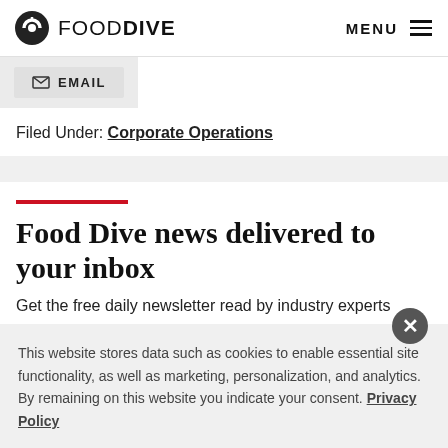FOOD DIVE | MENU
EMAIL
Filed Under: Corporate Operations
Food Dive news delivered to your inbox
Get the free daily newsletter read by industry experts
This website stores data such as cookies to enable essential site functionality, as well as marketing, personalization, and analytics. By remaining on this website you indicate your consent. Privacy Policy